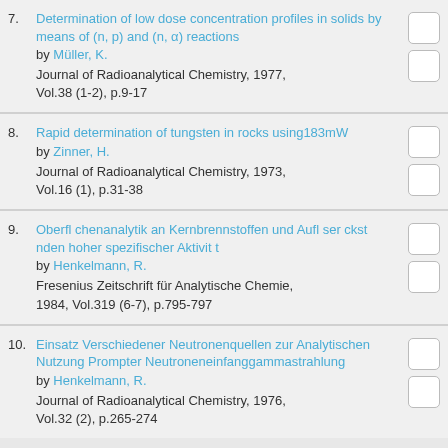7. Determination of low dose concentration profiles in solids by means of (n, p) and (n, α) reactions by Müller, K. Journal of Radioanalytical Chemistry, 1977, Vol.38 (1-2), p.9-17
8. Rapid determination of tungsten in rocks using183mW by Zinner, H. Journal of Radioanalytical Chemistry, 1973, Vol.16 (1), p.31-38
9. Oberfl chenanalytik an Kernbrennstoffen und Aufl ser ckst nden hoher spezifischer Aktivit t by Henkelmann, R. Fresenius Zeitschrift für Analytische Chemie, 1984, Vol.319 (6-7), p.795-797
10. Einsatz Verschiedener Neutronenquellen zur Analytischen Nutzung Prompter Neutroneneinfanggammastrahlung by Henkelmann, R. Journal of Radioanalytical Chemistry, 1976, Vol.32 (2), p.265-274